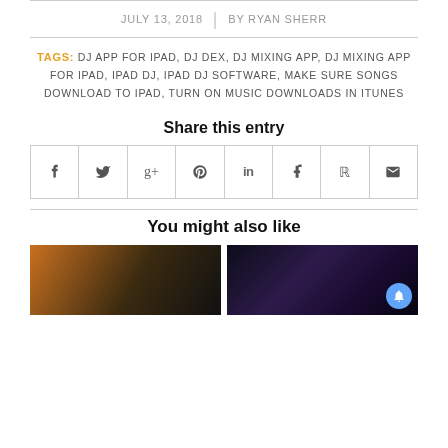JULY 13, 2018 | BY RYAN SHERR
TAGS: DJ APP FOR IPAD, DJ DEX, DJ MIXING APP, DJ MIXING APP FOR IPAD, IPAD DJ, IPAD DJ SOFTWARE, MAKE SURE SONGS DOWNLOAD TO IPAD, TURN ON MUSIC DOWNLOADS IN ITUNES
Share this entry
[Figure (other): Social share buttons row: Facebook, Twitter, Google+, Pinterest, LinkedIn, Tumblr, Reddit, Email]
You might also like
[Figure (photo): Two thumbnail images side by side: left is a dark/orange photo, right is a DJ app screenshot on tablet]